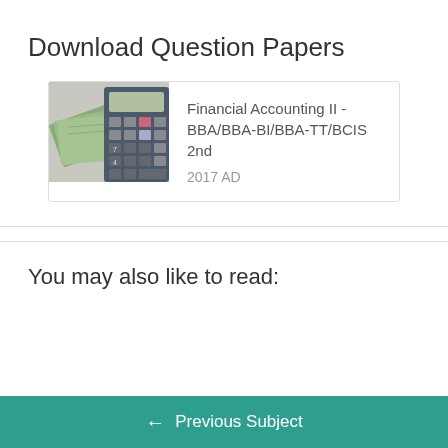Download Question Papers
[Figure (photo): Photo of US dollar bills fanned out next to a calculator showing keys including 7 and 4, on a light background.]
Financial Accounting II - BBA/BBA-BI/BBA-TT/BCIS 2nd
2017 AD
You may also like to read:
← Previous Subject